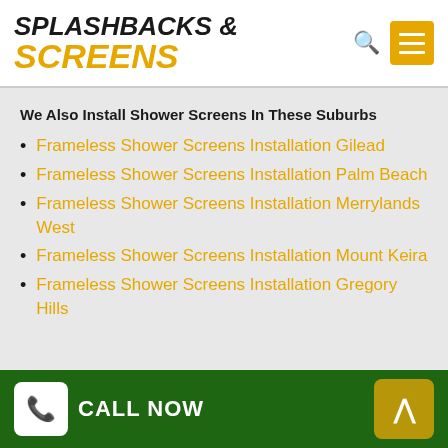SPLASHBACKS & SCREENS
We Also Install Shower Screens In These Suburbs
Frameless Shower Screens Installation Gilead
Frameless Shower Screens Installation Palm Beach
Frameless Shower Screens Installation Merrylands West
Frameless Shower Screens Installation Mount Keira
Frameless Shower Screens Installation Gregory Hills
CALL NOW